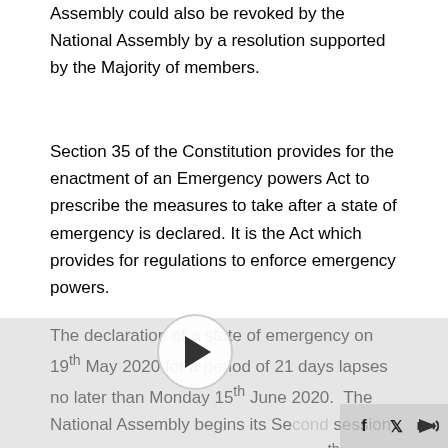Assembly could also be revoked by the National Assembly by a resolution supported by the Majority of members.
Section 35 of the Constitution provides for the enactment of an Emergency powers Act to prescribe the measures to take after a state of emergency is declared. It is the Act which provides for regulations to enforce emergency powers.
The declaration of a state of emergency on 19th May 2020 for a period of 21 days lapses no later than Monday 15th June 2020. The National Assembly begins its Second session of the Legislative year on Monday 15th June 2020.